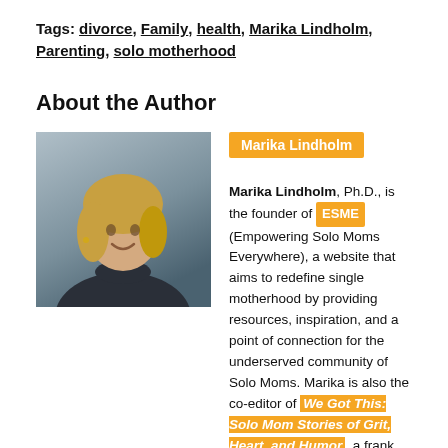Tags: divorce, Family, health, Marika Lindholm, Parenting, solo motherhood
About the Author
[Figure (photo): Headshot of Marika Lindholm, a woman with blonde hair wearing a dark turtleneck sweater, smiling.]
Marika Lindholm, Ph.D., is the founder of ESME (Empowering Solo Moms Everywhere), a website that aims to redefine single motherhood by providing resources, inspiration, and a point of connection for the underserved community of Solo Moms. Marika is also the co-editor of We Got This: Solo Mom Stories of Grit, Heart, and Humor, a frank, funny, and unflinchingly honest anthology—written by 75 Solo Mom writers, including Amy Poehler, Anne Lamott, and Elizabeth Alexander—that celebrates Solo Moms: their tenacity, courage, and fierce love for their children. Now remarried and living in New York's Hudson Valley, Marika is the mother of 5 children. She dedicates her days to: writing, ESME, raising her